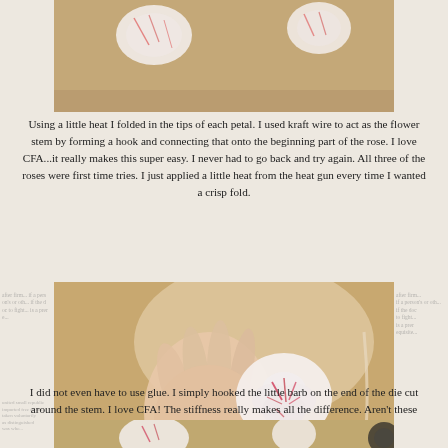[Figure (photo): Top photo showing paper flower petals on a wooden surface, cropped view]
Using a little heat I folded in the tips of each petal. I used kraft wire to act as the flower stem by forming a hook and connecting that onto the beginning part of the rose. I love CFA...it really makes this super easy. I never had to go back and try again. All three of the roses were first time tries. I just applied a little heat from the heat gun every time I wanted a crisp fold.
[Figure (photo): Photo of a hand holding a handmade paper rose with red and white patterned petals, on a wooden table surface with craft supplies nearby]
I did not even have to use glue. I simply hooked the little barb on the end of the die cut around the stem. I love CFA! The stiffness really makes all the difference. Aren't these gorgeous???
[Figure (photo): Bottom partial photo showing more paper roses, cropped at bottom of page]